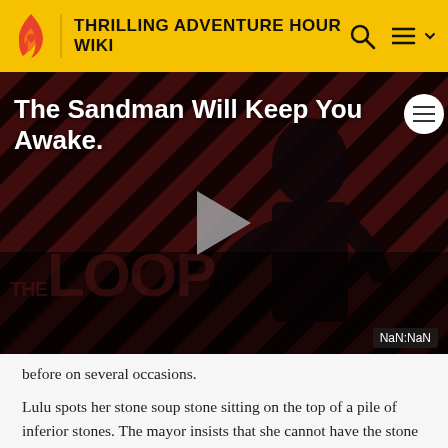THRILLING ADVENTURE HOUR WIKI
[Figure (screenshot): Video player thumbnail showing a dark figure in black against a red and black diagonal striped background. Title overlay reads 'The Sandman Will Keep You Awake.' A grey play button triangle is centered. 'THE LOOP' watermark is visible at bottom left. 'NaN:NaN' timer label at bottom right.]
before on several occasions.
Lulu spots her stone soup stone sitting on the top of a pile of inferior stones. The mayor insists that she cannot have the stone back until after the town lottery, into which